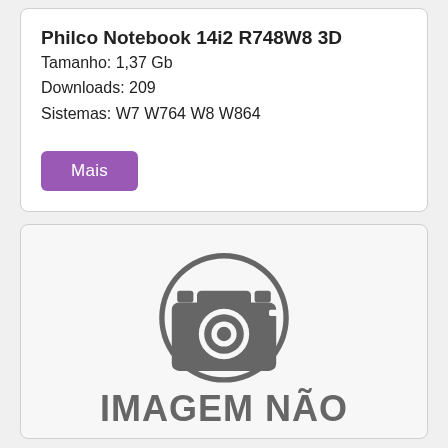Philco Notebook 14i2 R748W8 3D
Tamanho: 1,37 Gb
Downloads: 209
Sistemas: W7 W764 W8 W864
[Figure (illustration): Camera placeholder image with 'IMAGEM NÃO' text below, indicating image not available]
IMAGEM NÃO